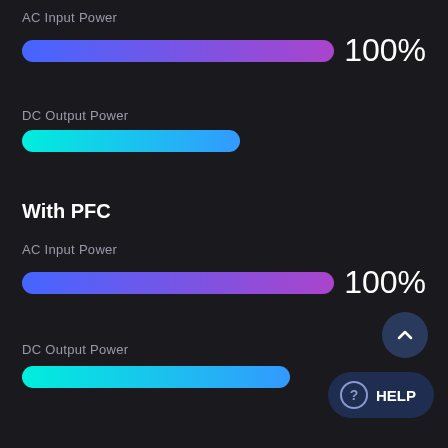AC Input Power
[Figure (infographic): Horizontal progress bar showing AC Input Power at 100%, gradient from blue to purple, with '100%' label to the right]
DC Output Power
[Figure (infographic): Horizontal progress bar showing DC Output Power at approximately 52%, gradient from cyan to blue]
With PFC
AC Input Power
[Figure (infographic): Horizontal progress bar showing AC Input Power at 100%, gradient from blue to purple, with '100%' label to the right]
DC Output Power
[Figure (infographic): Horizontal progress bar showing DC Output Power at approximately 60%, gradient from cyan to blue]